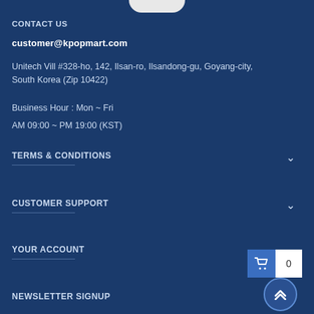CONTACT US
customer@kpopmart.com
Unitech Vill #328-ho, 142, Ilsan-ro, Ilsandong-gu, Goyang-city, South Korea (Zip 10422)
Business Hour : Mon ~ Fri
AM 09:00 ~ PM 19:00 (KST)
TERMS & CONDITIONS
CUSTOMER SUPPORT
YOUR ACCOUNT
NEWSLETTER SIGNUP